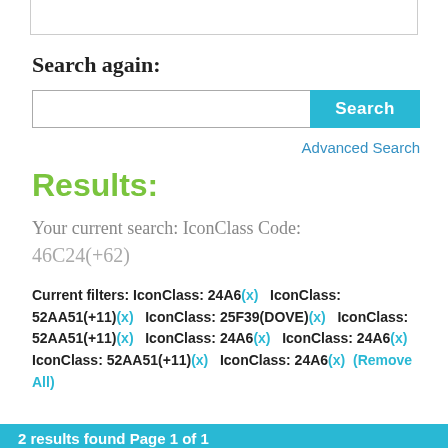Search again:
Search [input field] [Search button]
Advanced Search
Results:
Your current search: IconClass Code:
46C24(+62)
Current filters: IconClass: 24A6(x)   IconClass: 52AA51(+11)(x)   IconClass: 25F39(DOVE)(x)   IconClass: 52AA51(+11)(x)   IconClass: 24A6(x)   IconClass: 24A6(x) IconClass: 52AA51(+11)(x)   IconClass: 24A6(x)   (Remove All)
2 results found Page 1 of 1